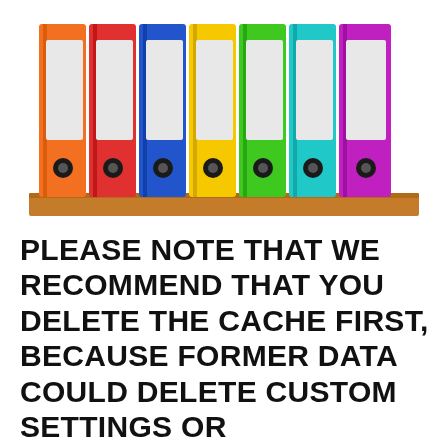[Figure (illustration): Seven colorful binder folders (orange, red, blue, yellow, green, teal/cyan, purple) standing upright on a wooden shelf, each with a white label area and a black circular ring hole at the bottom.]
PLEASE NOTE THAT WE RECOMMEND THAT YOU DELETE THE CACHE FIRST, BECAUSE FORMER DATA COULD DELETE CUSTOM SETTINGS OR ACHIEVEMENTS